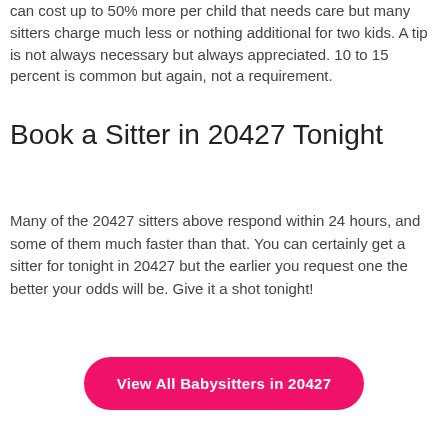can cost up to 50% more per child that needs care but many sitters charge much less or nothing additional for two kids. A tip is not always necessary but always appreciated. 10 to 15 percent is common but again, not a requirement.
Book a Sitter in 20427 Tonight
Many of the 20427 sitters above respond within 24 hours, and some of them much faster than that. You can certainly get a sitter for tonight in 20427 but the earlier you request one the better your odds will be. Give it a shot tonight!
View All Babysitters in 20427